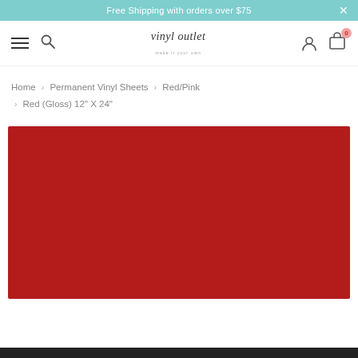Free Shipping with orders over $75  ×
[Figure (screenshot): Website navigation bar with hamburger menu, search icon, vinyl outlet logo, user icon, and cart icon showing 0 items]
Home › Permanent Vinyl Sheets › Red/Pink › Red (Gloss) 12" X 24"
[Figure (photo): Red gloss vinyl sheet product image showing a solid red rectangular piece of vinyl]